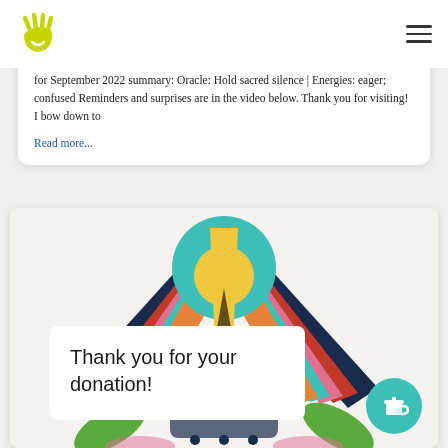[Logo: yellow hand/sun icon]
for September 2022 summary: Oracle: Hold sacred silence | Energies: eager; confused Reminders and surprises are in the video below. Thank you for visiting! I bow down to
Read more...
[Figure (illustration): Colorful stylized bird/phoenix with spread wings in red, orange, pink, teal, dark navy, green feathers, with a yellow central element, on a light background. A white overlay box shows 'Thank you for your donation!' with a teal coffee cup button in the corner.]
Thank you for your donation!